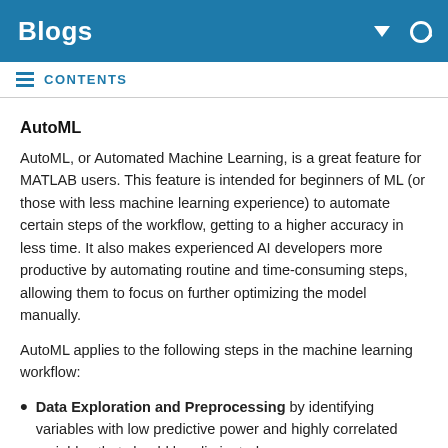Blogs
CONTENTS
AutoML
AutoML, or Automated Machine Learning, is a great feature for MATLAB users. This feature is intended for beginners of ML (or those with less machine learning experience) to automate certain steps of the workflow, getting to a higher accuracy in less time. It also makes experienced AI developers more productive by automating routine and time-consuming steps, allowing them to focus on further optimizing the model manually.
AutoML applies to the following steps in the machine learning workflow:
Data Exploration and Preprocessing by identifying variables with low predictive power and highly correlated variables that should be eliminated.
Feature Extraction and Selection by extracting features automatically from signals and images and identifying those